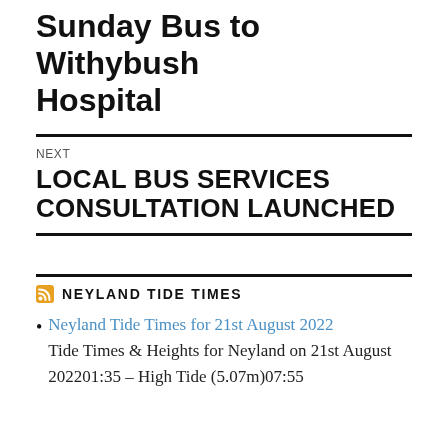Sunday Bus to Withybush Hospital
NEXT
LOCAL BUS SERVICES CONSULTATION LAUNCHED
RSS NEYLAND TIDE TIMES
Neyland Tide Times for 21st August 2022
Tide Times & Heights for Neyland on 21st August 202201:35 – High Tide (5.07m)07:55